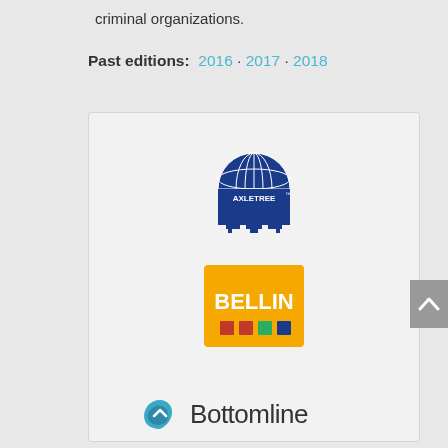criminal organizations.
Past editions: 2016 · 2017 · 2018
[Figure (logo): Axletree logo — blue globe with tree structure below, text AXLETREE with TM mark]
[Figure (logo): Bellin logo — orange/yellow square with BELLIN text and colored dots]
[Figure (logo): Bottomline logo — teal/blue abstract leaf/envelope icon with Bottomline text]